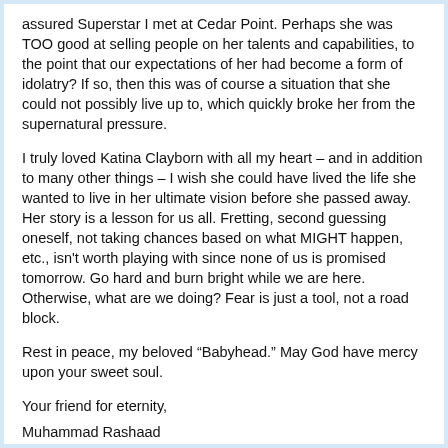assured Superstar I met at Cedar Point. Perhaps she was TOO good at selling people on her talents and capabilities, to the point that our expectations of her had become a form of idolatry? If so, then this was of course a situation that she could not possibly live up to, which quickly broke her from the supernatural pressure.
I truly loved Katina Clayborn with all my heart – and in addition to many other things – I wish she could have lived the life she wanted to live in her ultimate vision before she passed away. Her story is a lesson for us all. Fretting, second guessing oneself, not taking chances based on what MIGHT happen, etc., isn't worth playing with since none of us is promised tomorrow. Go hard and burn bright while we are here. Otherwise, what are we doing? Fear is just a tool, not a road block.
Rest in peace, my beloved “Babyhead.” May God have mercy upon your sweet soul.
Your friend for eternity,
Muhammad Rashaad